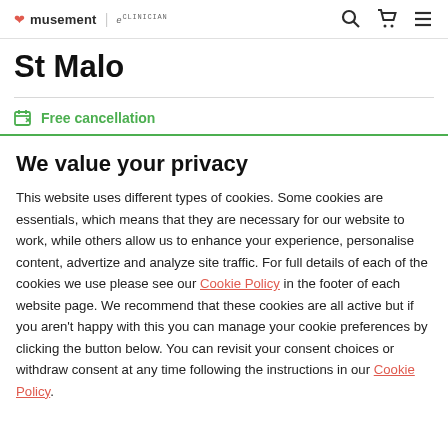musement | eClinician — navigation bar with search, cart, and menu icons
St Malo
Free cancellation
We value your privacy
This website uses different types of cookies. Some cookies are essentials, which means that they are necessary for our website to work, while others allow us to enhance your experience, personalise content, advertize and analyze site traffic. For full details of each of the cookies we use please see our Cookie Policy in the footer of each website page. We recommend that these cookies are all active but if you aren't happy with this you can manage your cookie preferences by clicking the button below. You can revisit your consent choices or withdraw consent at any time following the instructions in our Cookie Policy.